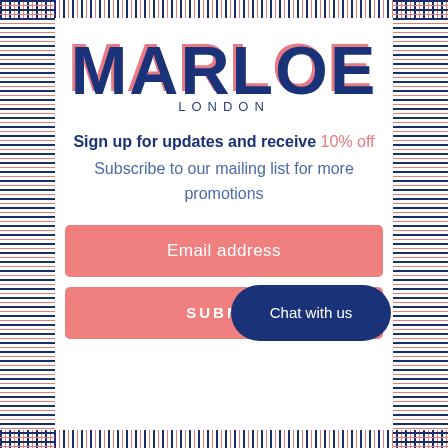[Figure (logo): MARLOE LONDON brand logo in dark navy blue with pink/coral shadow offset, bold serif-style sans font. 'MARLOE' large text, 'LONDON' in small spaced capitals below.]
Sign up for updates and receive 10% off
Subscribe to our mailing list for more promotions
Email address
SUBMIT
Chat with us